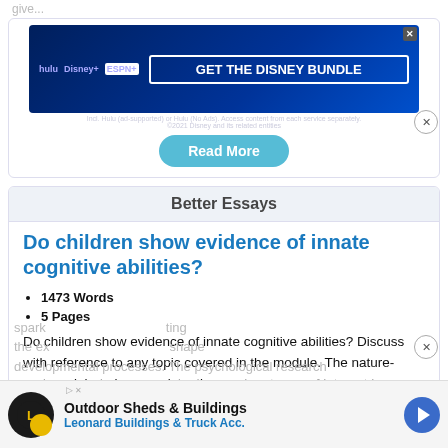give...
[Figure (screenshot): Disney Bundle advertisement banner with Hulu, Disney+, ESPN+ logos and 'GET THE DISNEY BUNDLE' call to action button]
Read More
Better Essays
Do children show evidence of innate cognitive abilities?
1473 Words
5 Pages
Do children show evidence of innate cognitive abilities? Discuss with reference to any topic covered in the module. The nature-nurture debate is a consistently prominent area of interest in psychology and has in turn sparked ... the ex... shape developmental processes. The psychological research
[Figure (screenshot): Outdoor Sheds & Buildings advertisement for Leonard Buildings & Truck Acc. with directional arrow logo]